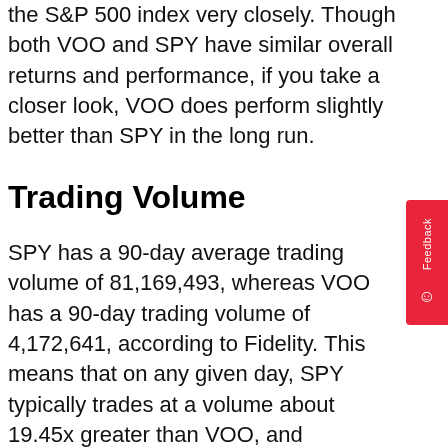the S&P 500 index very closely. Though both VOO and SPY have similar overall returns and performance, if you take a closer look, VOO does perform slightly better than SPY in the long run.
Trading Volume
SPY has a 90-day average trading volume of 81,169,493, whereas VOO has a 90-day trading volume of 4,172,641, according to Fidelity. This means that on any given day, SPY typically trades at a volume about 19.45x greater than VOO, and